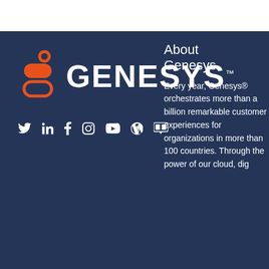[Figure (logo): Genesys logo: orange icon of stacked rounded shapes with a circle on top, followed by white bold text 'GENESYS' with TM mark]
[Figure (illustration): Row of white social media icons: Twitter, LinkedIn, Facebook, Instagram, YouTube, WordPress, Slideshare/Speakerdeck]
About Genesys
Every year, Genesys® orchestrates more than a billion remarkable customer experiences for organizations in more than 100 countries. Through the power of our cloud, dig...